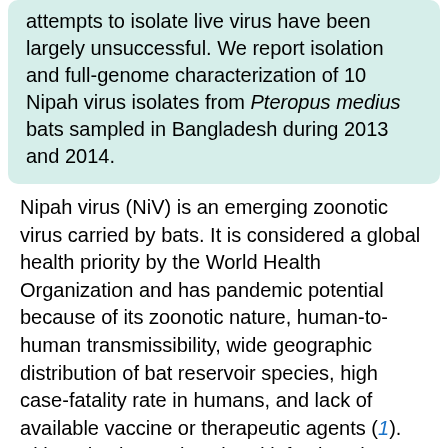attempts to isolate live virus have been largely unsuccessful. We report isolation and full-genome characterization of 10 Nipah virus isolates from Pteropus medius bats sampled in Bangladesh during 2013 and 2014.
Nipah virus (NiV) is an emerging zoonotic virus carried by bats. It is considered a global health priority by the World Health Organization and has pandemic potential because of its zoonotic nature, human-to-human transmissibility, wide geographic distribution of bat reservoir species, high case-fatality rate in humans, and lack of available vaccine or therapeutic agents (1). Although NiV or NiV-related infections have been demonstrated by serologic surveillance or PCR detection in several bat species across extensive areas, attempts to isolate live NiV have been unsuccessful; there have been only 3 successful reports: Pteropus hypomelanus bats (2) and P.